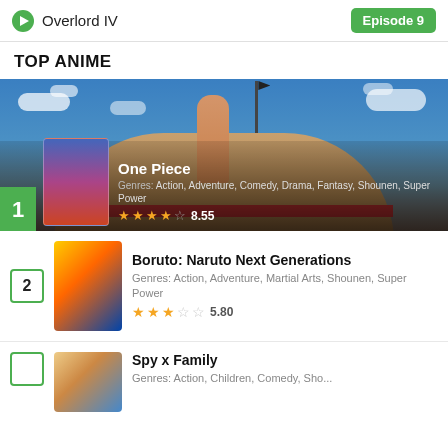Overlord IV  Episode 9
TOP ANIME
[Figure (screenshot): Hero banner for #1 anime 'One Piece' with anime scene background showing blue sky, clouds, a dome structure, and a large thumb/finger. Includes poster thumbnail, title, genres, and star rating.]
[Figure (screenshot): List entry #2: Boruto: Naruto Next Generations with poster thumbnail, genres, and star rating 5.80]
[Figure (screenshot): List entry #3: Spy x Family partially visible at bottom, with poster thumbnail]